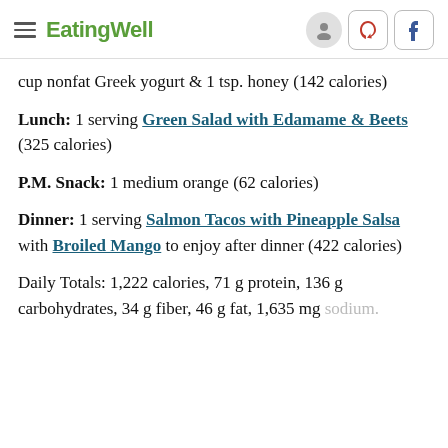EatingWell
cup nonfat Greek yogurt & 1 tsp. honey (142 calories)
Lunch: 1 serving Green Salad with Edamame & Beets (325 calories)
P.M. Snack: 1 medium orange (62 calories)
Dinner: 1 serving Salmon Tacos with Pineapple Salsa with Broiled Mango to enjoy after dinner (422 calories)
Daily Totals: 1,222 calories, 71 g protein, 136 g carbohydrates, 34 g fiber, 46 g fat, 1,635 mg sodium.